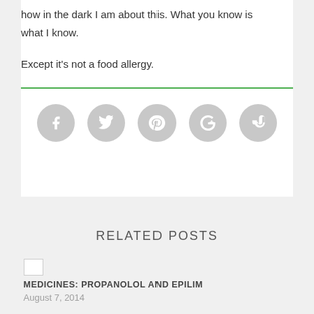how in the dark I am about this. What you know is what I know.
Except it's not a food allergy.
[Figure (other): Social sharing buttons: Facebook, Twitter, Pinterest, Google+, StumbleUpon — grey circles with white icons]
RELATED POSTS
[Figure (photo): Broken/missing image thumbnail for related post]
MEDICINES: PROPANOLOL AND EPILIM
August 7, 2014